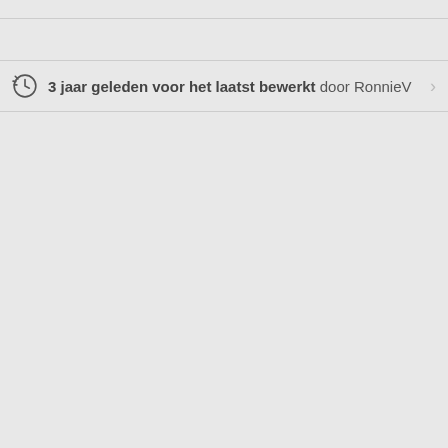3 jaar geleden voor het laatst bewerkt door RonnieV